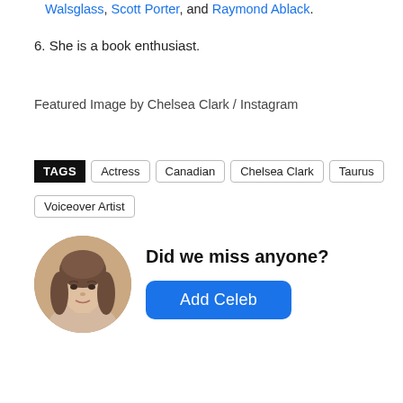Walsglass, Scott Porter, and Raymond Ablack.
6. She is a book enthusiast.
Featured Image by Chelsea Clark / Instagram
TAGS  Actress  Canadian  Chelsea Clark  Taurus
Voiceover Artist
[Figure (illustration): Circular avatar photo of a young woman with long brown wavy hair, used as a profile image for the 'Did we miss anyone?' section.]
Did we miss anyone?
Add Celeb